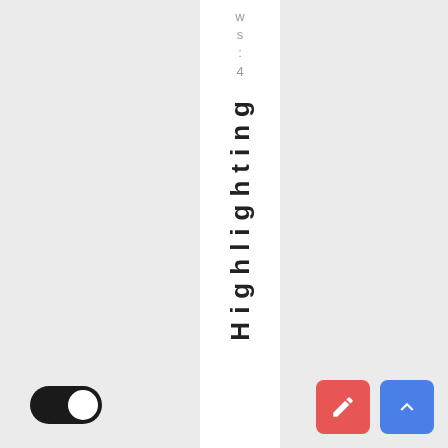ws:4
Highlighting
[Figure (other): Dark mode toggle switch (on state) at bottom left of page]
[Figure (other): Two FAB buttons at bottom right: red with pencil/edit icon, blue with up-arrow icon]